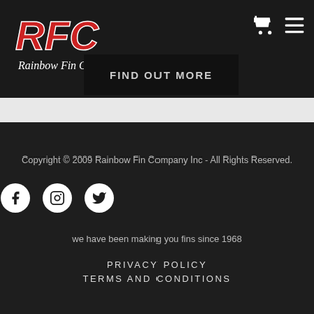[Figure (logo): RFC Rainbow Fin Co. logo with red and white stylized text on dark background]
FIND OUT MORE
Copyright © 2009 Rainbow Fin Company Inc - All Rights Reserved.
we have been making you fins since 1968
PRIVACY POLICY
TERMS AND CONDITIONS